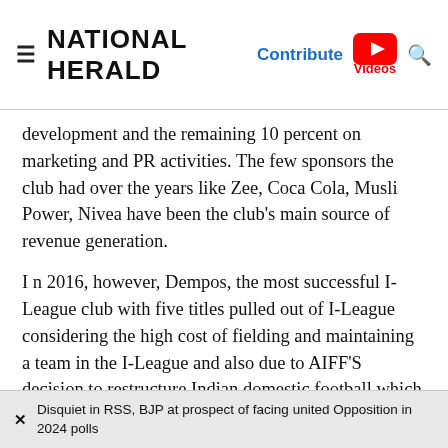NATIONAL HERALD
development and the remaining 10 percent on marketing and PR activities. The few sponsors the club had over the years like Zee, Coca Cola, Musli Power, Nivea have been the club's main source of revenue generation.
I n 2016, however, Dempos, the most successful I-League club with five titles pulled out of I-League considering the high cost of fielding and maintaining a team in the I-League and also due to AIFF'S decision to restructure Indian domestic football which made Indian Super League (ISL) a top-tier league and relegated I-League to the second
Disquiet in RSS, BJP at prospect of facing united Opposition in 2024 polls